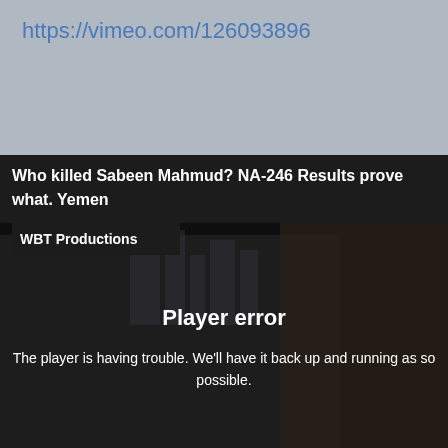https://vimeo.com/126093896
[Figure (screenshot): Screenshot of a Vimeo video player showing a video titled 'Who killed Sabeen Mahmud? NA-246 Results prove what. Yemen' by WBT Productions. The video player shows a player error message: 'Player error - The player is having trouble. We'll have it back up and running as soon as possible.' The background shows two men in suits with a city skyline behind them, overlaid with a dark semi-transparent layer.]